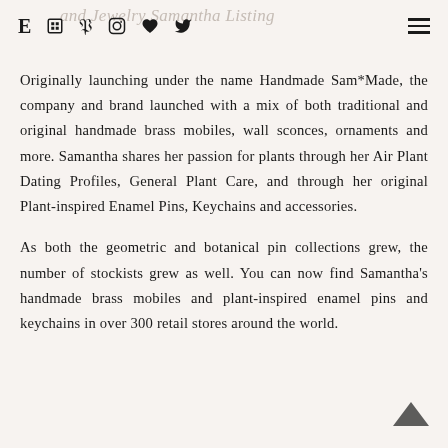E [book icon] P [instagram icon] [heart icon] [twitter icon] [hamburger menu]
Originally launching under the name Handmade Sam*Made, the company and brand launched with a mix of both traditional and original handmade brass mobiles, wall sconces, ornaments and more. Samantha shares her passion for plants through her Air Plant Dating Profiles, General Plant Care, and through her original Plant-inspired Enamel Pins, Keychains and accessories.
As both the geometric and botanical pin collections grew, the number of stockists grew as well. You can now find Samantha's handmade brass mobiles and plant-inspired enamel pins and keychains in over 300 retail stores around the world.